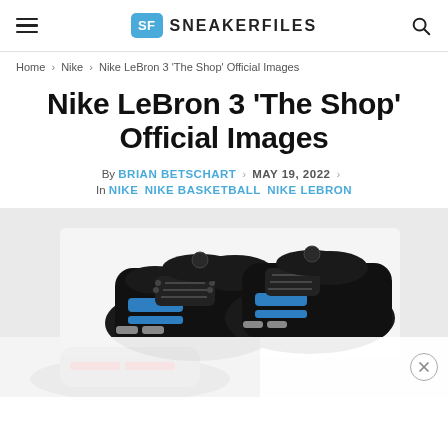SNEAKERFILES
Home › Nike › Nike LeBron 3 'The Shop' Official Images
Nike LeBron 3 'The Shop' Official Images
By BRIAN BETSCHART · MAY 19, 2022 · In NIKE NIKE BASKETBALL NIKE LEBRON
[Figure (photo): Nike LeBron 3 'The Shop' sneakers in black and blue colorway, shown as a pair from a top-down angle. An advertisement overlay with a faded white sneaker image appears at the bottom with a close (X) button.]